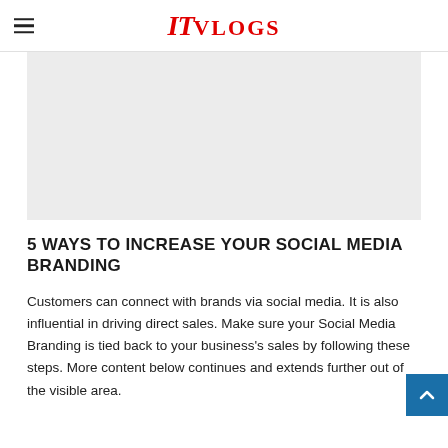ITVLOGS
[Figure (other): Gray placeholder/advertisement box]
5 WAYS TO INCREASE YOUR SOCIAL MEDIA BRANDING
Customers can connect with brands via social media. It is also influential in driving direct sales. Make sure your Social Media Branding is tied back to your business's sales by following these steps. More content below continues beyond the visible area.